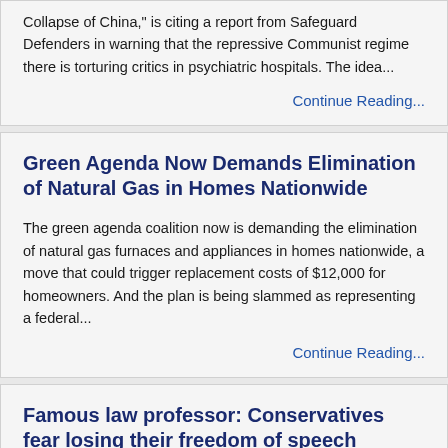Collapse of China," is citing a report from Safeguard Defenders in warning that the repressive Communist regime there is torturing critics in psychiatric hospitals. The idea...
Continue Reading...
Green Agenda Now Demands Elimination of Natural Gas in Homes Nationwide
The green agenda coalition now is demanding the elimination of natural gas furnaces and appliances in homes nationwide, a move that could trigger replacement costs of $12,000 for homeowners. And the plan is being slammed as representing a federal...
Continue Reading...
Famous law professor: Conservatives fear losing their freedom of speech